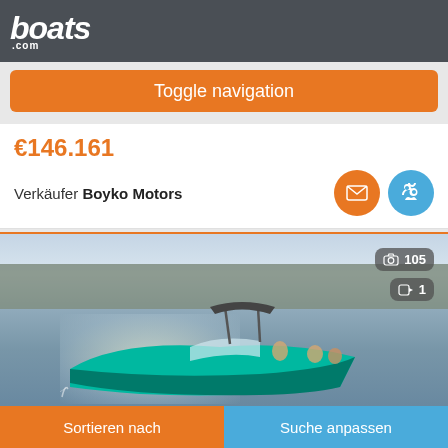boats.com
Toggle navigation
€146.161
Verkäufer Boyko Motors
[Figure (photo): A teal/green speedboat on a calm lake with trees in the background at golden hour. Photo count badge shows 105 photos and 1 video.]
Sortieren nach | Suche anpassen